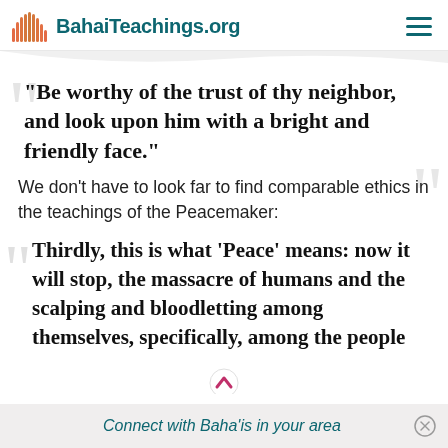BahaiTeachings.org
“Be worthy of the trust of thy neighbor, and look upon him with a bright and friendly face.”
We don’t have to look far to find comparable ethics in the teachings of the Peacemaker:
Thirdly, this is what ‘Peace’ means: now it will stop, the massacre of humans and the scalping and bloodletting among themselves, specifically, among the people
Connect with Baha’is in your area